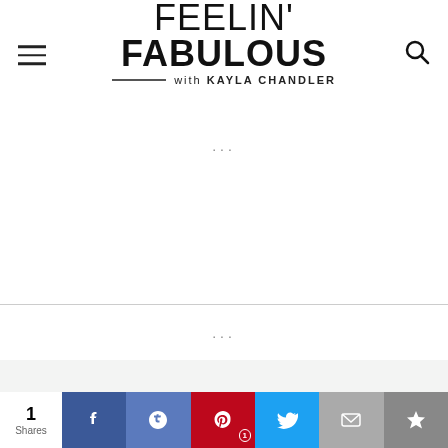FEELIN' FABULOUS with KAYLA CHANDLER
...
...
POPULAR POSTS
1   5-DAY WEIGHT LOSS MEAL PREP | grain free & dairy free!
1 Shares — Facebook, Like, Pinterest (1), Twitter, Email, Crown